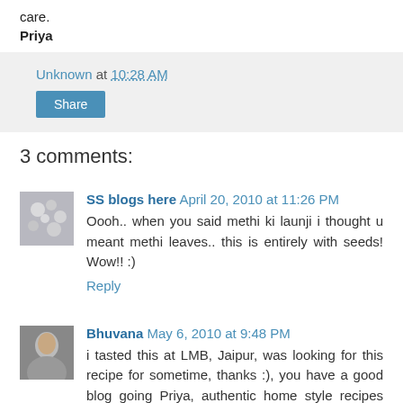care.
Priya
Unknown at 10:28 AM
Share
3 comments:
SS blogs here April 20, 2010 at 11:26 PM
Oooh.. when you said methi ki launji i thought u meant methi leaves.. this is entirely with seeds! Wow!! :)
Reply
Bhuvana May 6, 2010 at 9:48 PM
i tasted this at LMB, Jaipur, was looking for this recipe for sometime, thanks :), you have a good blog going Priya, authentic home style recipes are rare to come by.